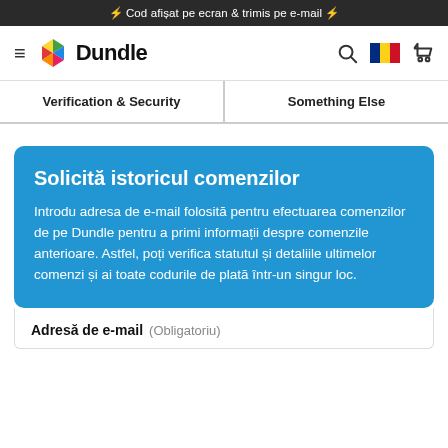⚡ Cod afișat pe ecran & trimis pe e-mail ⚡
[Figure (logo): Dundle logo with colorful hexagon icon and bold text]
Verification & Security
Something Else
Solicită istoricul comenzilor
Introdu adresa de e-mail folosită pentru efectuarea comenzilor de pe Dundle pentru a primi informații despre comenzile anterioare. Astfel, poți verifica statutul și detaliile ultimelor comenzi și ai toate codurile de plată într-un singur loc.
Adresă de e-mail (Obligatoriu)